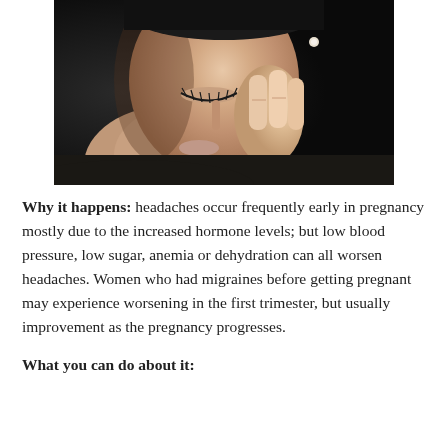[Figure (photo): Close-up photo of a woman with eyes closed, pressing fingers to the bridge of her nose, suggesting a headache or migraine. Dark background.]
Why it happens: headaches occur frequently early in pregnancy mostly due to the increased hormone levels; but low blood pressure, low sugar, anemia or dehydration can all worsen headaches. Women who had migraines before getting pregnant may experience worsening in the first trimester, but usually improvement as the pregnancy progresses.
What you can do about it: